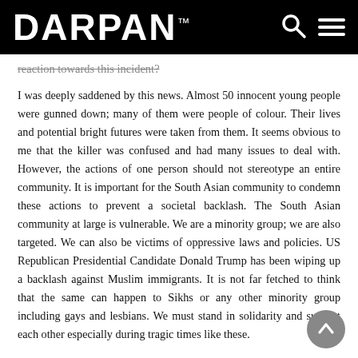DARPAN™
reaction towards this incident?
I was deeply saddened by this news. Almost 50 innocent young people were gunned down; many of them were people of colour. Their lives and potential bright futures were taken from them. It seems obvious to me that the killer was confused and had many issues to deal with. However, the actions of one person should not stereotype an entire community. It is important for the South Asian community to condemn these actions to prevent a societal backlash. The South Asian community at large is vulnerable. We are a minority group; we are also targeted. We can also be victims of oppressive laws and policies. US Republican Presidential Candidate Donald Trump has been wiping up a backlash against Muslim immigrants. It is not far fetched to think that the same can happen to Sikhs or any other minority group including gays and lesbians. We must stand in solidarity and support each other especially during tragic times like these.
6. How has this incident impacted the LGBT community here?
This incident could have happened in Vancouver. Anyone can walk into a gay bar and kill members of the LGBTQ